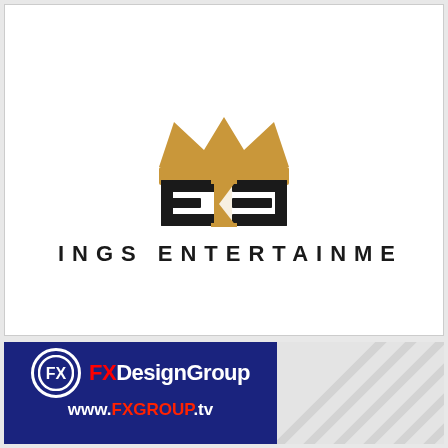[Figure (logo): 3 Kings Entertainment logo: gold crown above stylized '3KE' letters in black with gold diagonal accent, text '3 KINGS ENTERTAINMENT' below in bold spaced black capitals]
[Figure (logo): FXDesignGroup advertisement: dark navy background with FX circle logo, red and white 'FXDesignGroup' text, 'www.FXGROUP.tv' URL, and photo of people/display below]